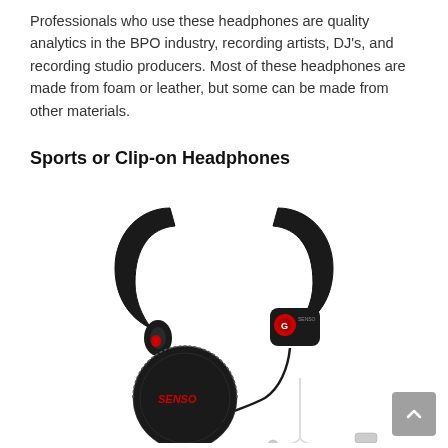Professionals who use these headphones are quality analytics in the BPO industry, recording artists, DJ's, and recording studio producers. Most of these headphones are made from foam or leather, but some can be made from other materials.
Sports or Clip-on Headphones
[Figure (photo): Photo of black sports clip-on Bluetooth earphones (SENSO brand) with ear hooks, a round black carrying case, and additional white earbuds with accessories displayed below]